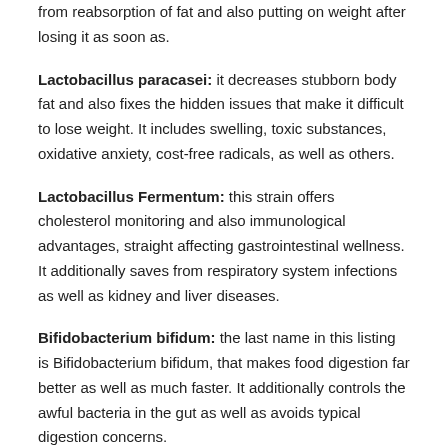from reabsorption of fat and also putting on weight after losing it as soon as.
Lactobacillus paracasei: it decreases stubborn body fat and also fixes the hidden issues that make it difficult to lose weight. It includes swelling, toxic substances, oxidative anxiety, cost-free radicals, as well as others.
Lactobacillus Fermentum: this strain offers cholesterol monitoring and also immunological advantages, straight affecting gastrointestinal wellness. It additionally saves from respiratory system infections as well as kidney and liver diseases.
Bifidobacterium bifidum: the last name in this listing is Bifidobacterium bifidum, that makes food digestion far better as well as much faster. It additionally controls the awful bacteria in the gut as well as avoids typical digestion concerns.
Inulin: This active ingredient is prebiotic, which manages bowel